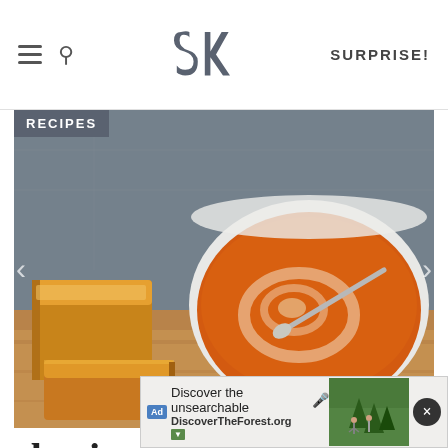SK logo navigation header with hamburger menu, search icon, SK logo, and SURPRISE! link
[Figure (photo): Photo of a bowl of tomato soup with a cream swirl and spoon, next to grilled cheese sandwich pieces on a wooden board, with a gray stone background. A RECIPES badge overlays the top-left corner.]
classic grilled cheese
[Figure (other): Advertisement overlay: 'Discover the unsearchable' with DiscoverTheForest.org URL and a photo of hikers in a forest. Close button (x) in top-right.]